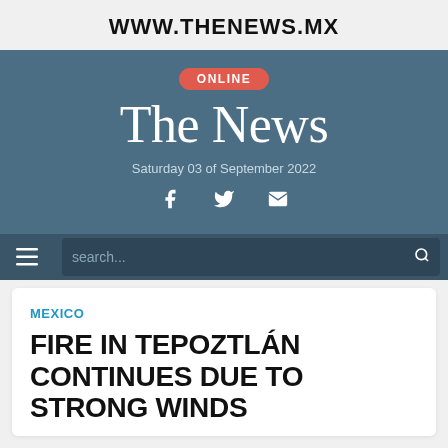WWW.THENEWS.MX
[Figure (logo): The News Online newspaper masthead with ONLINE badge, site name 'The News', date Saturday 03 of September 2022, and social media icons for Facebook, Twitter, and email]
search...
MEXICO
FIRE IN TEPOZTLÁN CONTINUES DUE TO STRONG WINDS